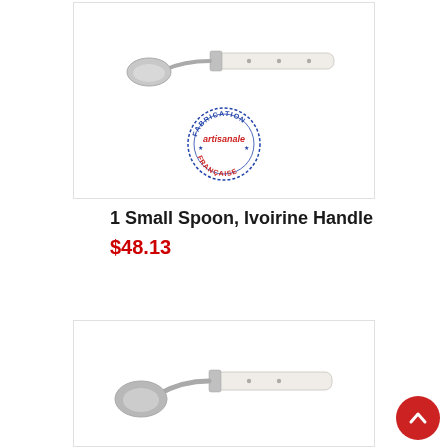[Figure (photo): A small spoon with ivoirine (ivory-colored) handle and a circular stamp reading 'Fabrication artisanale Française']
1 Small Spoon, Ivoirine Handle
$48.13
[Figure (photo): A small spoon with ivoirine (ivory-colored) handle, partially visible, bottom product card]